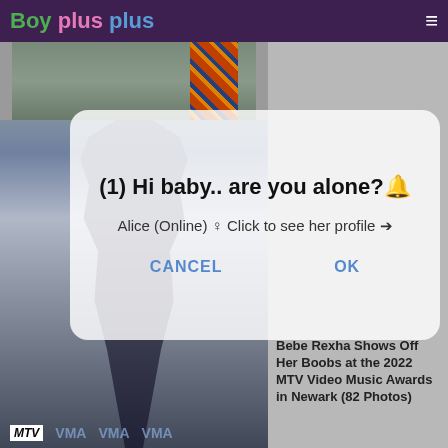Boy plus plus
[Figure (photo): Screenshot of boyplusplus.com website showing a photo of Bebe Rexha at the 2022 MTV Video Music Awards with a chat popup overlay reading '(1) Hi baby.. are you alone?' from Alice (Online) with Cancel and OK buttons]
(1) Hi baby.. are you alone?
Alice (Online) ♀ Click to see her profile →
CANCEL
OK
Bebe Rexha Shows Off Her Boobs at the 2022 MTV Video Music Awards in Newark (82 Photos)